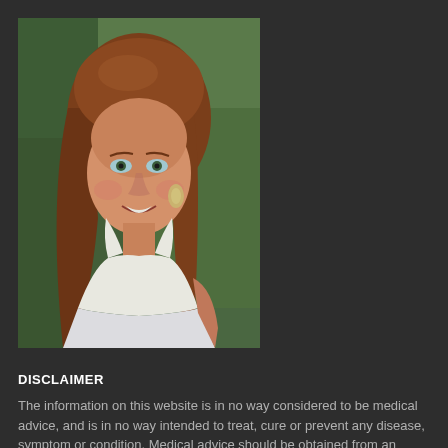[Figure (photo): Portrait photo of a smiling woman with long reddish-brown hair, wearing a white sleeveless top and gold earrings, with a blurred green outdoor background.]
DISCLAIMER
The information on this website is in no way considered to be medical advice, and is in no way intended to treat, cure or prevent any disease, symptom or condition. Medical advice should be obtained from an appropriate licensed if